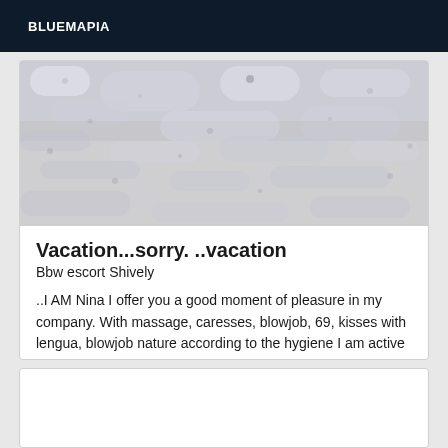BLUEMAPIA
[Figure (photo): Close-up photo of white/grey textured surface, likely snow or stone, blurred background]
Vacation...sorry. ..vacation
Bbw escort Shively
..I AM Nina I offer you a good moment of pleasure in my company. With massage, caresses, blowjob, 69, kisses with lengua, blowjob nature according to the hygiene I am active and passive ... more active well mounted ... thank you.